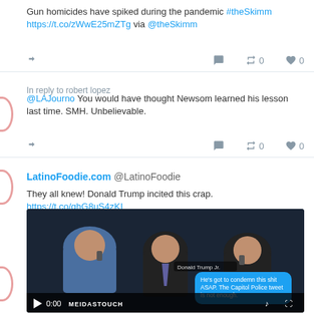Gun homicides have spiked during the pandemic #theSkimm https://t.co/zWwE25mZTg via @theSkimm
[Figure (screenshot): Twitter action icons: share, reply arrow, retweet (0), like (0)]
In reply to robert lopez
@LAJourno You would have thought Newsom learned his lesson last time. SMH. Unbelievable.
[Figure (screenshot): Twitter action icons: share, reply arrow, retweet (0), like (0)]
LatinoFoodie.com @LatinoFoodie
They all knew! Donald Trump incited this crap. https://t.co/ghG8uS4zKI
[Figure (screenshot): Video thumbnail from MeidasTouch showing three men on phones. Chat bubble reads: He's got to condemn this shit ASAP. The Capitol Police tweet is not enough. Video timestamp 0:00.]